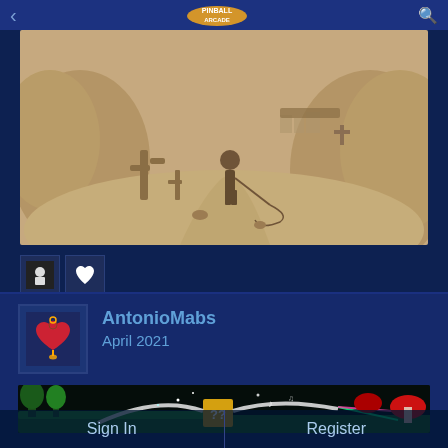[Figure (screenshot): Mobile app header bar with back arrow, Pinball Arcade logo, and search icon]
[Figure (illustration): Sepia-toned desert scene illustration with a character holding a whip/lasso, cacti, rocks, and a winding path]
[Figure (photo): Small reaction icons: character avatar icon and heart icon]
AntonioMabs
April 2021
[Figure (screenshot): Fantasy forest game banner image with a mystery box, musical notes, mushrooms, and laser light effects]
Sign In
Register